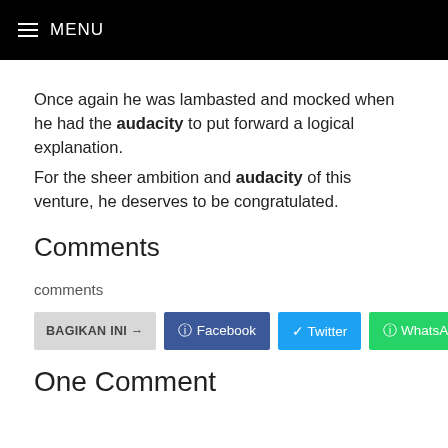MENU
Once again he was lambasted and mocked when he had the audacity to put forward a logical explanation. For the sheer ambition and audacity of this venture, he deserves to be congratulated.
Comments
comments
BAGIKAN INI → Facebook Twitter WhatsApp
One Comment